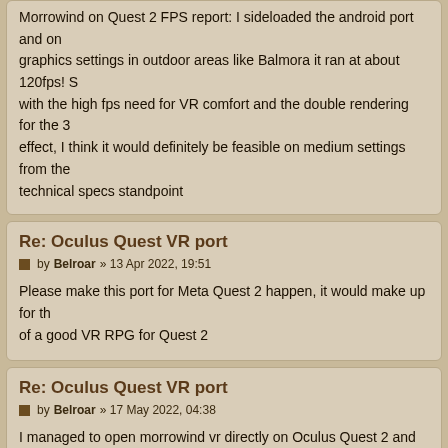Morrowind on Quest 2 FPS report: I sideloaded the android port and on graphics settings in outdoor areas like Balmora it ran at about 120fps! S with the high fps need for VR comfort and the double rendering for the 3 effect, I think it would definitely be feasible on medium settings from the technical specs standpoint
Re: Oculus Quest VR port
by Belroar » 13 Apr 2022, 19:51
Please make this port for Meta Quest 2 happen, it would make up for th of a good VR RPG for Quest 2
Re: Oculus Quest VR port
by Belroar » 17 May 2022, 04:38
I managed to open morrowind vr directly on Oculus Quest 2 and in my o it works perfectly, but this project seems to be abandoned, here's the lin those who want to test it:
https://github.com/demonixis/TES3Unity
Re: Oculus Quest VR port